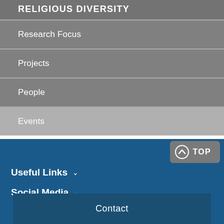RELIGIOUS DIVERSITY
Research Focus
Projects
People
Events
TOP  Useful Links  Social Media  Contact